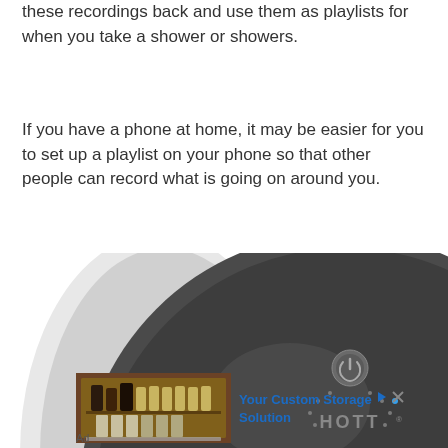these recordings back and use them as playlists for when you take a shower or showers.
If you have a phone at home, it may be easier for you to set up a playlist on your phone so that other people can record what is going on around you.
[Figure (photo): A dark gray dome-shaped wireless speaker device (HOTT brand) with a power button and dotted arc pattern on the front, white casing on the left side.]
[Figure (photo): Advertisement image showing kitchen cabinet storage organizer with spices and bottles on a sliding shelf, with text 'Your Custom Storage Solution' in blue.]
Ad